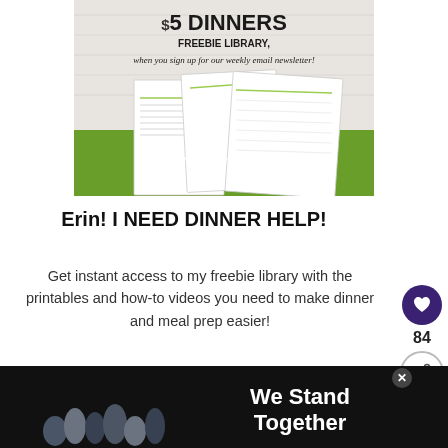[Figure (illustration): $5 Dinners Freebie Library promotional banner with printables, worksheets and eCookbooks shown on a green background with the text 'Printables, Workshops & eCookbooks!']
Erin! I NEED DINNER HELP!
Get instant access to my freebie library with the printables and how-to videos you need to make dinner and meal prep easier!
First Name
[Figure (screenshot): WHAT'S NEXT arrow with Freezer label and thumbnail image]
[Figure (photo): We Stand Together ad banner with group photo]